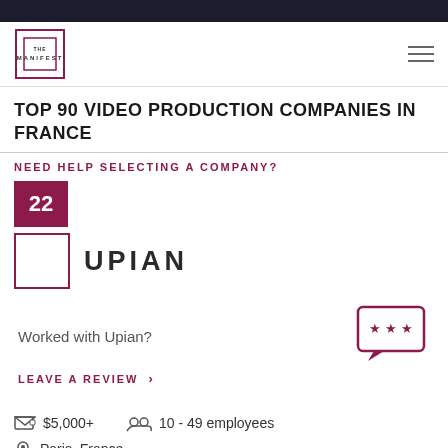THE MANIFEST
TOP 90 VIDEO PRODUCTION COMPANIES IN FRANCE
NEED HELP SELECTING A COMPANY?
22
UPIAN
Worked with Upian?
LEAVE A REVIEW >
$5,000+
10 - 49 employees
Paris, France